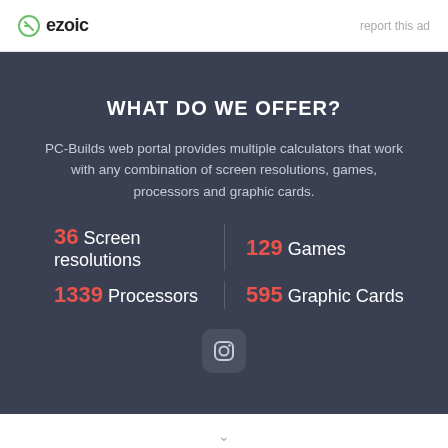ezoic  report this ad
WHAT DO WE OFFER?
PC-Builds web portal provides multiple calculators that work with any combination of screen resolutions, games, processors and graphic cards.
36 Screen resolutions | 129 Games | 1339 Processors | 595 Graphic Cards
[Figure (logo): Instagram icon in rounded square button]
chevron down indicator